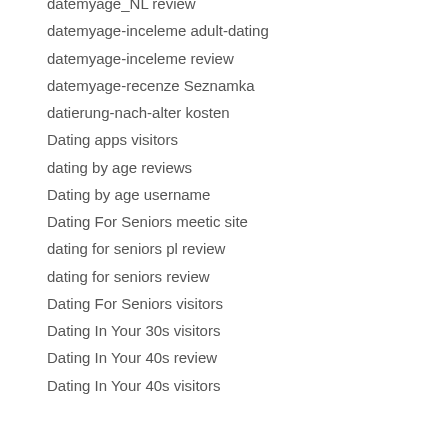datemyage_NL review
datemyage-inceleme adult-dating
datemyage-inceleme review
datemyage-recenze Seznamka
datierung-nach-alter kosten
Dating apps visitors
dating by age reviews
Dating by age username
Dating For Seniors meetic site
dating for seniors pl review
dating for seniors review
Dating For Seniors visitors
Dating In Your 30s visitors
Dating In Your 40s review
Dating In Your 40s visitors